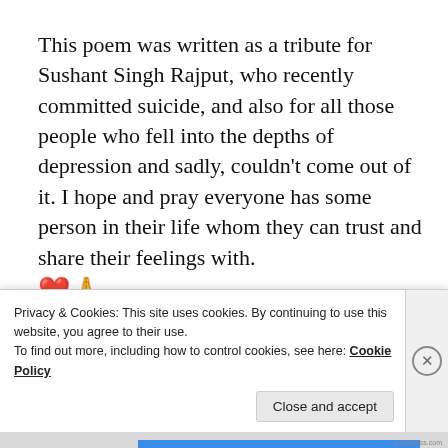This poem was written as a tribute for Sushant Singh Rajput, who recently committed suicide, and also for all those people who fell into the depths of depression and sadly, couldn't come out of it. I hope and pray everyone has some person in their life whom they can trust and share their feelings with. ❤🙏
Advertisements
[Figure (screenshot): Blue advertisement banner for WordPress hosting with text 'When your WordPress site needs speed, you need']
Privacy & Cookies: This site uses cookies. By continuing to use this website, you agree to their use.
To find out more, including how to control cookies, see here: Cookie Policy
Close and accept